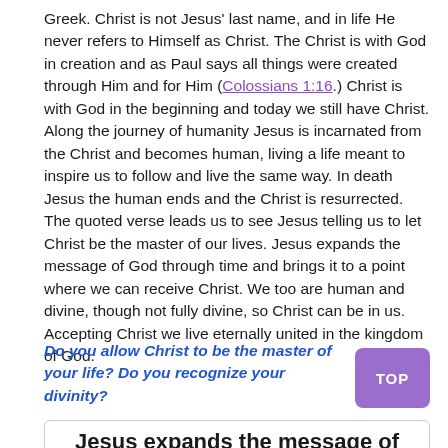Greek. Christ is not Jesus' last name, and in life He never refers to Himself as Christ. The Christ is with God in creation and as Paul says all things were created through Him and for Him (Colossians 1:16.) Christ is with God in the beginning and today we still have Christ. Along the journey of humanity Jesus is incarnated from the Christ and becomes human, living a life meant to inspire us to follow and live the same way. In death Jesus the human ends and the Christ is resurrected. The quoted verse leads us to see Jesus telling us to let Christ be the master of our lives. Jesus expands the message of God through time and brings it to a point where we can receive Christ. We too are human and divine, though not fully divine, so Christ can be in us. Accepting Christ we live eternally united in the kingdom of God.
Do you allow Christ to be the master of your life? Do you recognize your divinity?
Jesus expands the message of God